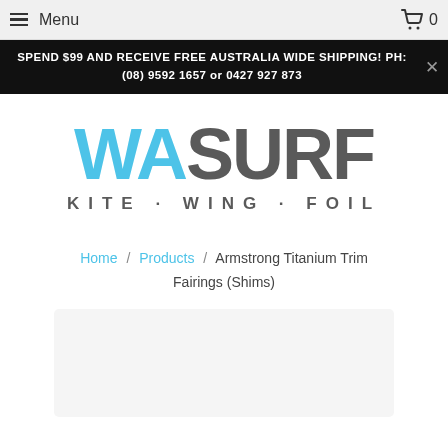Menu  0
SPEND $99 AND RECEIVE FREE AUSTRALIA WIDE SHIPPING! PH: (08) 9592 1657 or 0427 927 873
[Figure (logo): WASURF KITE · WING · FOIL logo with WA in cyan/light blue and SURF in dark grey, subtitle KITE · WING · FOIL in dark grey]
Home / Products / Armstrong Titanium Trim Fairings (Shims)
[Figure (photo): Product image placeholder area, light grey rectangle]